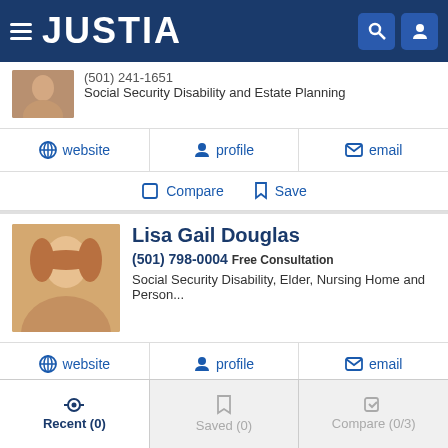JUSTIA
Social Security Disability and Estate Planning
website | profile | email
Compare | Save
Lisa Gail Douglas
(501) 798-0004 Free Consultation
Social Security Disability, Elder, Nursing Home and Person...
website | profile | email
Compare | Save
Recent (0) | Saved (0) | Compare (0/3)